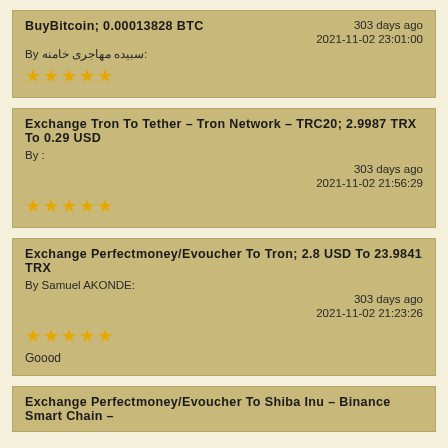BuyBitcoin; 0.00013828 BTC | By: سبیده مهاجری خامنه | 303 days ago | 2021-11-02 23:01:00 | 5 stars
Exchange Tron To Tether - Tron Network - TRC20; 2.9987 TRX To 0.29 USD | By: | 303 days ago | 2021-11-02 21:56:29 | 5 stars
Exchange Perfectmoney/Evoucher To Tron; 2.8 USD To 23.9841 TRX | By Samuel AKONDE: | 303 days ago | 2021-11-02 21:23:26 | 5 stars | Goood
Exchange Perfectmoney/Evoucher To Shiba Inu - Binance Smart Chain -